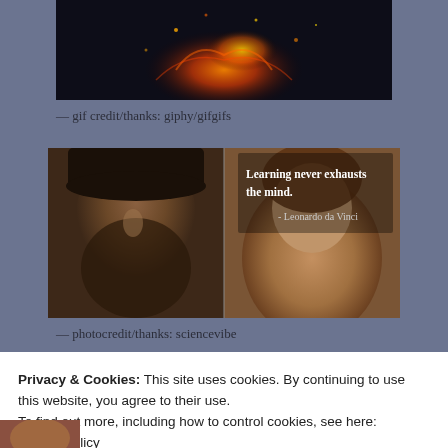[Figure (photo): Dark image with orange fire/sparks on black background, appears to be a Hunger Games mockingjay GIF frame]
— gif credit/thanks: giphy/gifgifs
[Figure (photo): Split image: left half shows a bearded man portrait (Leonardo da Vinci style), right half shows a woman with downcast eyes and text overlay reading 'Learning never exhausts the mind. - Leonardo da Vinci']
— photocredit/thanks: sciencevibe
Privacy & Cookies: This site uses cookies. By continuing to use this website, you agree to their use.
To find out more, including how to control cookies, see here:
Cookie Policy
Close and accept